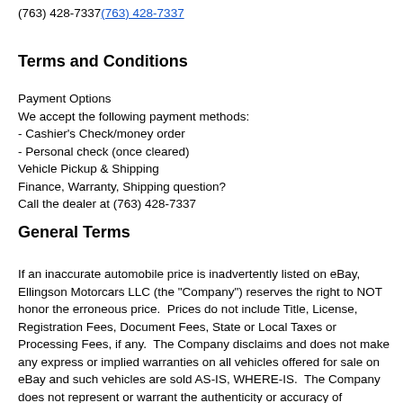(763) 428-7337(763) 428-7337
Terms and Conditions
Payment Options
We accept the following payment methods:
- Cashier's Check/money order
- Personal check (once cleared)
Vehicle Pickup & Shipping
Finance, Warranty, Shipping question?
Call the dealer at (763) 428-7337
General Terms
If an inaccurate automobile price is inadvertently listed on eBay, Ellingson Motorcars LLC (the "Company") reserves the right to NOT honor the erroneous price.  Prices do not include Title, License, Registration Fees, Document Fees, State or Local Taxes or Processing Fees, if any.  The Company disclaims and does not make any express or implied warranties on all vehicles offered for sale on eBay and such vehicles are sold AS-IS, WHERE-IS.  The Company does not represent or warrant the authenticity or accuracy of odometer readings or other vehicle specifications unless otherwise specified in the vehicle listing.  All shipping charges are the buyer's responsibility, unless otherwise agreed to by the Company.  The Company reserves the right to end any auction early, without any notice